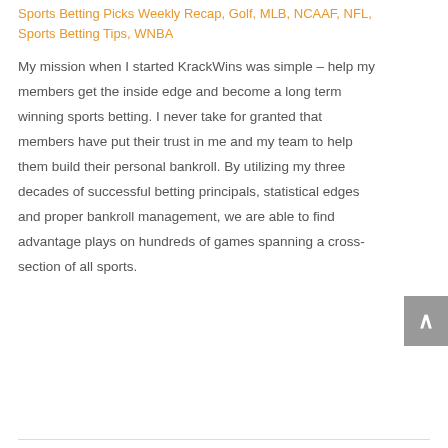Sports Betting Picks Weekly Recap, Golf, MLB, NCAAF, NFL, Sports Betting Tips, WNBA
My mission when I started KrackWins was simple – help my members get the inside edge and become a long term winning sports betting. I never take for granted that members have put their trust in me and my team to help them build their personal bankroll. By utilizing my three decades of successful betting principals, statistical edges and proper bankroll management, we are able to find advantage plays on hundreds of games spanning a cross-section of all sports.